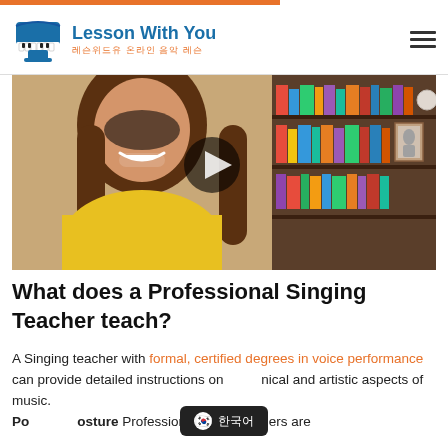Lesson With You — 레슨위드유 온라인 음악 레슨
[Figure (screenshot): Video thumbnail showing a woman with long brown hair wearing a yellow shirt, smiling in front of a bookcase. A dark circular play button overlay is centered on the image.]
What does a Professional Singing Teacher teach?
A Singing teacher with formal, certified degrees in voice performance can provide detailed instructions on technical and artistic aspects of music. Posture Professional voice teachers are